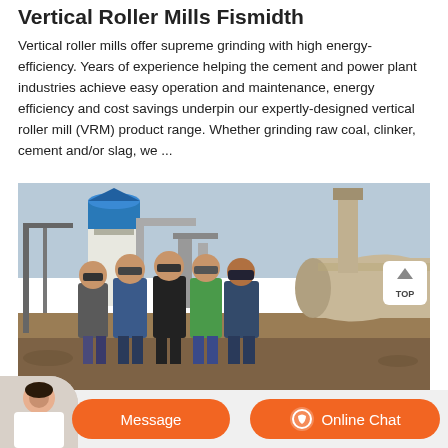Vertical Roller Mills Fismidth
Vertical roller mills offer supreme grinding with high energy-efficiency. Years of experience helping the cement and power plant industries achieve easy operation and maintenance, energy efficiency and cost savings underpin our expertly-designed vertical roller mill (VRM) product range. Whether grinding raw coal, clinker, cement and/or slag, we ...
[Figure (photo): Industrial site photo showing five workers standing in front of vertical roller mill equipment, with a blue-white silo in the background and industrial machinery.]
Message  Online Chat